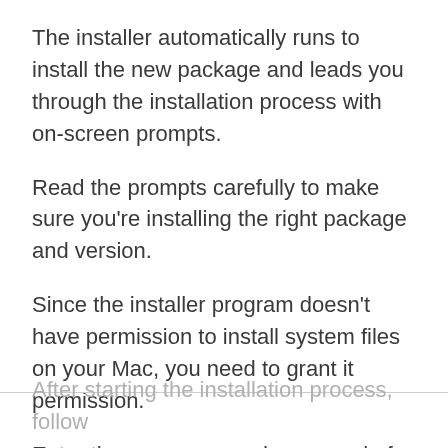The installer automatically runs to install the new package and leads you through the installation process with on-screen prompts.
Read the prompts carefully to make sure you're installing the right package and version.
Since the installer program doesn't have permission to install system files on your Mac, you need to grant it permission.
Enter the username and password of the account with administrative privileges.
After starting the installation process, follow